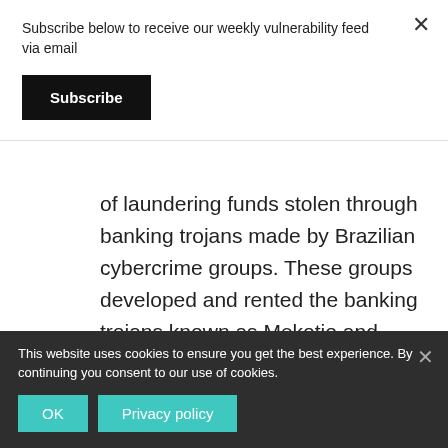Subscribe below to receive our weekly vulnerability feed via email
Subscribe
of laundering funds stolen through banking trojans made by Brazilian cybercrime groups. These groups developed and rented the banking trojans known as Mekotio and Grandoreiro, very capable pieces of malware targeting Windows computers through phishing emails. Post-infection, they remain hidden until the
This website uses cookies to ensure you get the best experience. By continuing you consent to our use of cookies.
OK
Privacy policy